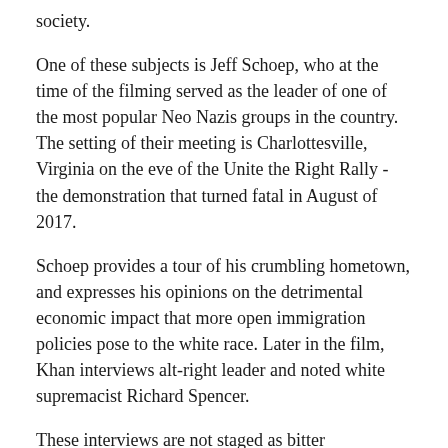society.
One of these subjects is Jeff Schoep, who at the time of the filming served as the leader of one of the most popular Neo Nazis groups in the country. The setting of their meeting is Charlottesville, Virginia on the eve of the Unite the Right Rally - the demonstration that turned fatal in August of 2017.
Schoep provides a tour of his crumbling hometown, and expresses his opinions on the detrimental economic impact that more open immigration policies pose to the white race. Later in the film, Khan interviews alt-right leader and noted white supremacist Richard Spencer.
These interviews are not staged as bitter confrontations. Kahn allows each of her subjects the opportunity to freely share their views, but is always ready to point out the inconsistencies and flaws in their